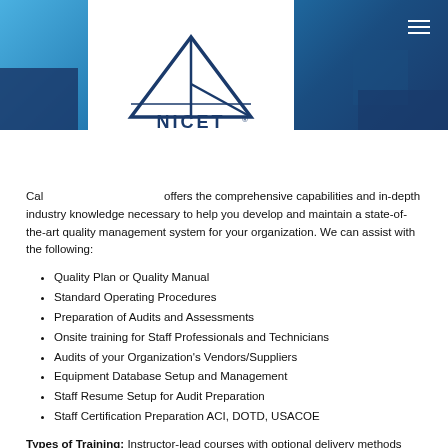[Figure (logo): NICET logo — triangle with internal line forming a sailboat shape, text NICET with registered trademark symbol below, all in dark navy blue]
Cal[ifornia Quality Services] offers the comprehensive capabilities and in-depth industry knowledge necessary to help you develop and maintain a state-of-the-art quality management system for your organization. We can assist with the following:
Quality Plan or Quality Manual
Standard Operating Procedures
Preparation of Audits and Assessments
Onsite training for Staff Professionals and Technicians
Audits of your Organization's Vendors/Suppliers
Equipment Database Setup and Management
Staff Resume Setup for Audit Preparation
Staff Certification Preparation ACI, DOTD, USACOE
Types of Training: Instructor-lead courses with optional delivery methods including:
Traditional classroom